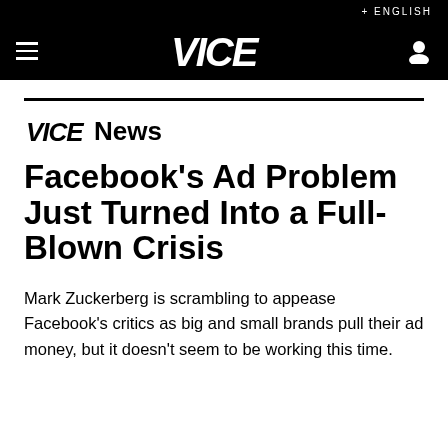+ ENGLISH
[Figure (logo): VICE logo in white on black navigation bar with hamburger menu and user icon]
VICE News
Facebook's Ad Problem Just Turned Into a Full-Blown Crisis
Mark Zuckerberg is scrambling to appease Facebook's critics as big and small brands pull their ad money, but it doesn't seem to be working this time.